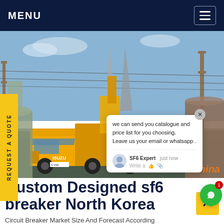MENU
[Figure (photo): Yellow Isuzu truck with crane attachment at an electrical substation with high-voltage transmission towers and lines in the background. Chat popup overlay visible.]
REQUEST A QUOTE
we can send you catalogue and price list for you choosing. Leave us your email or whatsapp .
SF6 Expert   just now
Write a
SF6China
Custom Designed sf6 breaker North Korea
Circuit Breaker Market Size And Forecast According